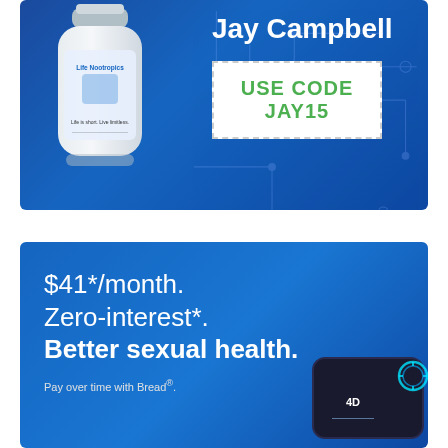[Figure (infographic): Life Nootropics advertisement banner with supplement bottle on blue background, Jay Campbell branding, USE CODE JAY15 coupon box]
Jay Campbell
USE CODE JAY15
[Figure (infographic): Sexual health service advertisement on blue background with payment plan offer and card image]
$41*/month. Zero-interest*. Better sexual health.
Pay over time with Bread®.